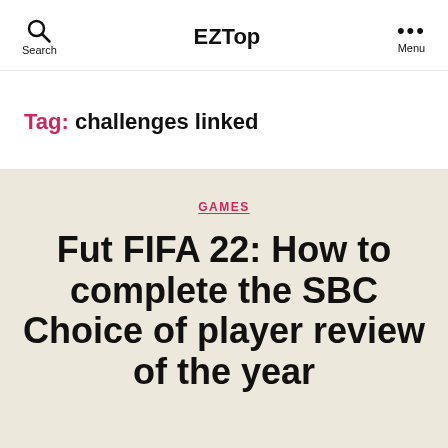EZTop
Tag: challenges linked
GAMES
Fut FIFA 22: How to complete the SBC Choice of player review of the year